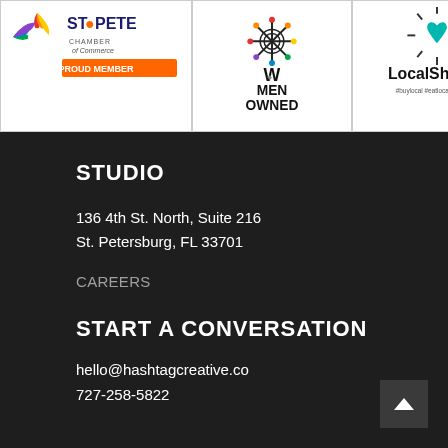[Figure (logo): St. Pete Chamber of Commerce Proud Member badge, Women Owned badge, and LocalShops1 badge displayed side by side on white backgrounds]
STUDIO
136 4th St. North, Suite 216
St. Petersburg, FL 33701
CAREERS
START A CONVERSATION
hello@hashtagcreative.co
727-258-5822